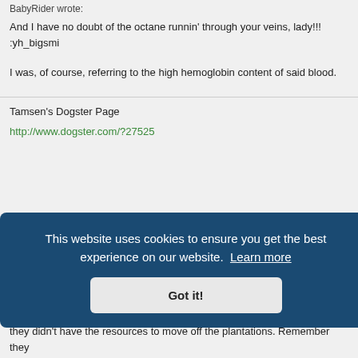BabyRider wrote:
And I have no doubt of the octane runnin' through your veins, lady!!! :yh_bigsmi
I was, of course, referring to the high hemoglobin content of said blood.
Tamsen's Dogster Page
http://www.dogster.com/?27525
This website uses cookies to ensure you get the best experience on our website. Learn more
Got it!
they didn't have the resources to move off the plantations. Remember they